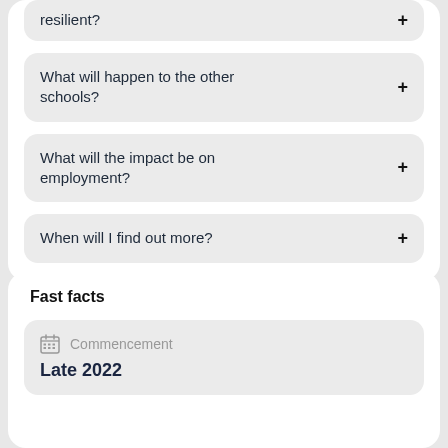resilient?
What will happen to the other schools?
What will the impact be on employment?
When will I find out more?
Fast facts
Commencement
Late 2022